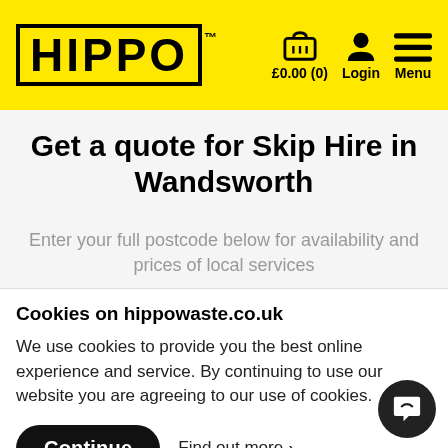[Figure (logo): HIPPO logo in black bold text with border on yellow background, with trademark symbol]
£0.00 (0)  Login  Menu
Get a quote for Skip Hire in Wandsworth
Enter your full postcode below for availability and prices of local services
Cookies on hippowaste.co.uk
We use cookies to provide you the best online experience and service. By continuing to use our website you are agreeing to our use of cookies.
Continue   Find out more >